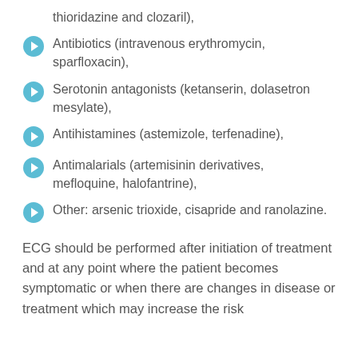thioridazine and clozaril),
Antibiotics (intravenous erythromycin, sparfloxacin),
Serotonin antagonists (ketanserin, dolasetron mesylate),
Antihistamines (astemizole, terfenadine),
Antimalarials (artemisinin derivatives, mefloquine, halofantrine),
Other: arsenic trioxide, cisapride and ranolazine.
ECG should be performed after initiation of treatment and at any point where the patient becomes symptomatic or when there are changes in disease or treatment which may increase the risk